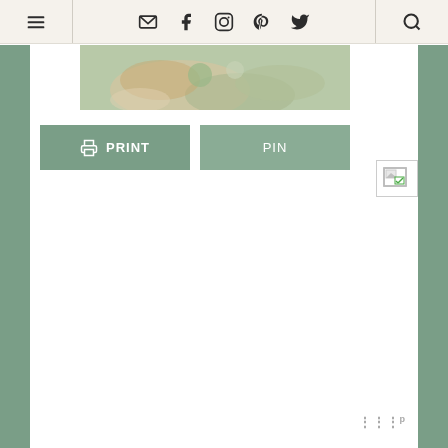[Figure (screenshot): Website navigation bar with hamburger menu icon on left, social media icons (email, Facebook, Instagram, Pinterest, Twitter) in center, and search icon on right, on a beige/cream background]
[Figure (photo): Partial food photo strip showing what appears to be a rice or grain dish with vegetables]
PRINT
PIN
[Figure (screenshot): Broken image placeholder icon in upper right area of content]
W p (watermark/logo at bottom right)